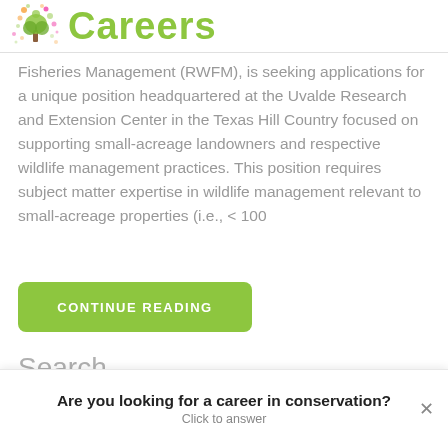[Figure (logo): Careers logo with decorative tree illustration and green 'Careers' text]
Fisheries Management (RWFM), is seeking applications for a unique position headquartered at the Uvalde Research and Extension Center in the Texas Hill Country focused on supporting small-acreage landowners and respective wildlife management practices. This position requires subject matter expertise in wildlife management relevant to small-acreage properties (i.e., < 100
CONTINUE READING
Search
Are you looking for a career in conservation?
Click to answer